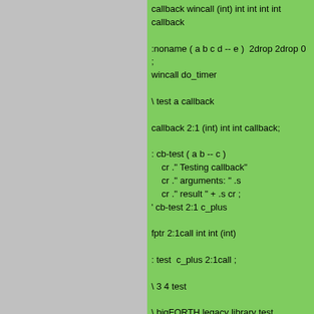callback wincall (int) int int int int callback

:noname ( a b c d -- e )  2drop 2drop 0 ;
wincall do_timer

\ test a callback

callback 2:1 (int) int int callback;

: cb-test ( a b -- c )
    cr ." Testing callback"
    cr ." arguments: " .s
    cr ." result " + .s cr ;
' cb-test 2:1 c_plus

fptr 2:1call int int (int)

: test  c_plus 2:1call ;

\ 3 4 test

\ bigFORTH legacy library test

library libX11 libX11.so.6

legacy on

1 libX11 XOpenDisplay XOpenDisplay
name -- dpy )